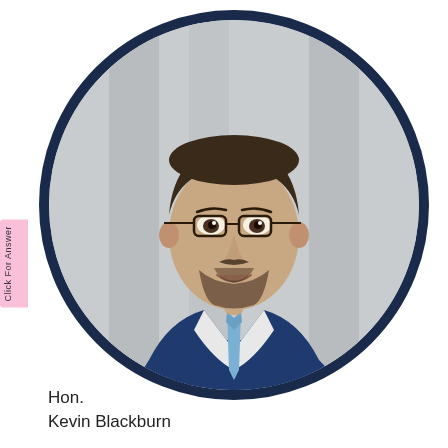[Figure (photo): Professional headshot of a man in a navy blue suit with a light blue tie and glasses, wearing a white dress shirt, smiling, set against a blurred architectural column background. Photo is displayed in a circular frame with a dark navy border. A pink tab on the left reads 'Click For Answer'.]
Hon.
Kevin Blackburn